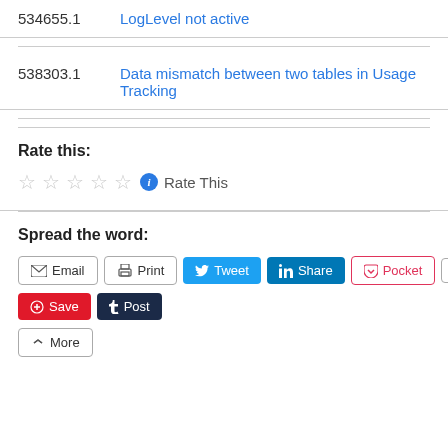| ID | Link |
| --- | --- |
| 534655.1 | LogLevel not active |
| 538303.1 | Data mismatch between two tables in Usage Tracking |
Rate this:
☆☆☆☆☆  Rate This
Spread the word:
Email | Print | Tweet | Share | Pocket | 0 | Save | Post | More